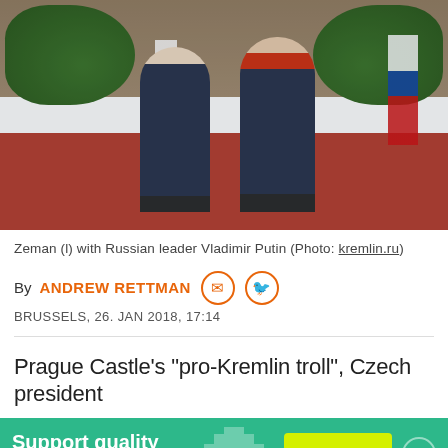[Figure (photo): Two men in dark suits shaking hands on a red carpet, with flags (Czech and Russian) visible in the background and green plants along a wood-paneled wall.]
Zeman (l) with Russian leader Vladimir Putin (Photo: kremlin.ru)
By ANDREW RETTMAN
BRUSSELS, 26. JAN 2018, 17:14
Prague Castle's "pro-Kremlin troll", Czech president
Support quality EU news JOIN US